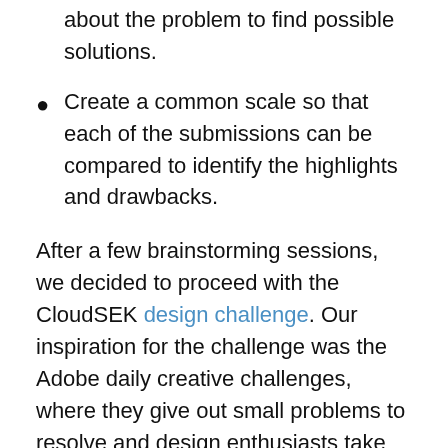about the problem to find possible solutions.
Create a common scale so that each of the submissions can be compared to identify the highlights and drawbacks.
After a few brainstorming sessions, we decided to proceed with the CloudSEK design challenge. Our inspiration for the challenge was the Adobe daily creative challenges, where they give out small problems to resolve and design enthusiasts take them up to improve their skills. We also wanted all the participants to showcase their skills and maybe even learn something new from the task assigned.